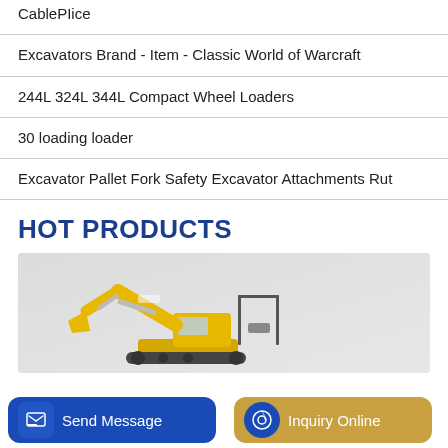CablePIice
Excavators Brand - Item - Classic World of Warcraft
244L 324L 344L Compact Wheel Loaders
30 loading loader
Excavator Pallet Fork Safety Excavator Attachments Rut
HOT PRODUCTS
[Figure (photo): Yellow excavator/mini construction machine on light grey background]
Send Message
Inquiry Online